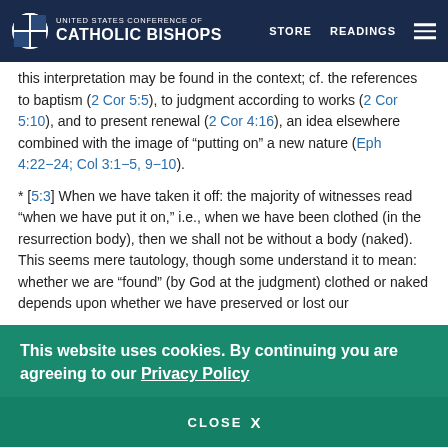United States Conference of Catholic Bishops — STORE  READINGS
this interpretation may be found in the context; cf. the references to baptism (2 Cor 5:5), to judgment according to works (2 Cor 5:10), and to present renewal (2 Cor 4:16), an idea elsewhere combined with the image of “putting on” a new nature (Eph 4:22–24; Col 3:1–5, 9–10).
* [5:3] When we have taken it off: the majority of witnesses read “when we have put it on,” i.e., when we have been clothed (in the resurrection body), then we shall not be without a body (naked). This seems mere tautology, though some understand it to mean: whether we are “found” (by God at the judgment) clothed or naked depends upon whether we have preserved or lost our
This website uses cookies. By continuing you are agreeing to our Privacy Policy
CLOSE  X